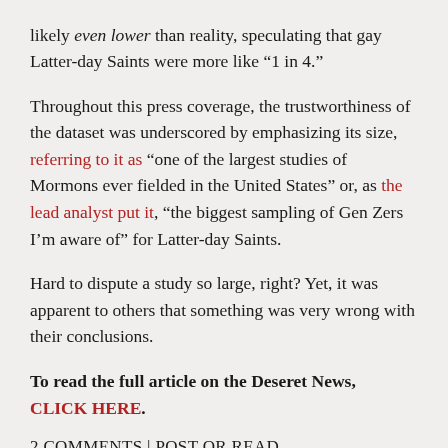likely even lower than reality, speculating that gay Latter-day Saints were more like “1 in 4.”
Throughout this press coverage, the trustworthiness of the dataset was underscored by emphasizing its size, referring to it as “one of the largest studies of Mormons ever fielded in the United States” or, as the lead analyst put it, “the biggest sampling of Gen Zers I’m aware of” for Latter-day Saints.
Hard to dispute a study so large, right? Yet, it was apparent to others that something was very wrong with their conclusions.
To read the full article on the Deseret News, CLICK HERE.
2 COMMENTS | POST OR READ